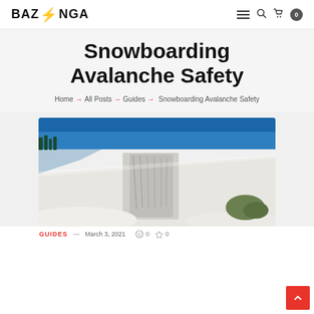BAZNGA (logo with lightning bolt) — navigation icons: hamburger menu, search, cart (0)
Snowboarding Avalanche Safety
Home → All Posts → Guides → Snowboarding Avalanche Safety
[Figure (photo): Photograph of a snow-covered mountain slope showing an avalanche fracture line with broken snow slabs and blue sky in the background]
GUIDES   March 3, 2021   0   0